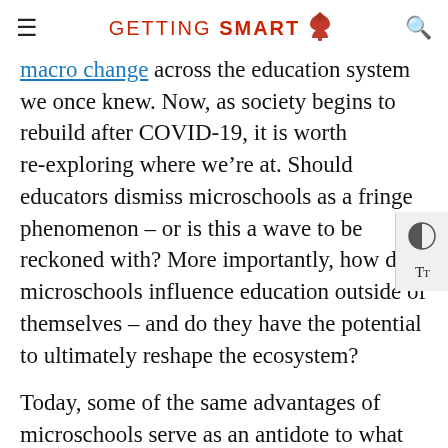GETTING SMART
macro change across the education system we once knew. Now, as society begins to rebuild after COVID-19, it is worth re-exploring where we're at. Should educators dismiss microschools as a fringe phenomenon – or is this a wave to be reckoned with? More importantly, how do microschools influence education outside of themselves – and do they have the potential to ultimately reshape the ecosystem?
Today, some of the same advantages of microschools serve as an antidote to what education has become – built on the model of Fordian industrialization, process-driven, efficiency-seeking, bell-tolling, and regimented.